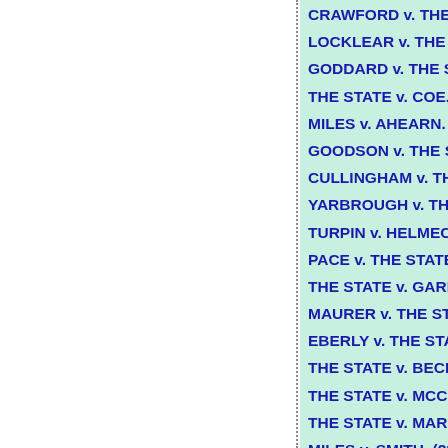CRAWFORD v. THE STATE. (246 Ga. App.
LOCKLEAR v. THE STATE. (244 Ga. App.
GODDARD v. THE STATE. (244 Ga. App.
THE STATE v. COE. (243 Ga. App. 232) (5
MILES v. AHEARN. (243 Ga. App. 741) (53
GOODSON v. THE STATE. (242 Ga. App.
CULLINGHAM v. THE STATE. (242 Ga. Ap
YARBROUGH v. THE STATE. (241 Ga. Ap
TURPIN v. HELMECI. (271 Ga. 224) (518 S
PACE v. THE STATE. (271 Ga. 829) (524 S
THE STATE v. GARNETT. (241 Ga. App. 3
MAURER v. THE STATE. (240 Ga. App. 14
EBERLY v. THE STATE. (240 Ga. App. 221
THE STATE v. BECKER. (240 Ga. App. 26
THE STATE v. MCCABE. (239 Ga. App. 29
THE STATE v. MARKS. (239 Ga. App. 448
MILES v. SMITH. (239 Ga. App. 641) (521